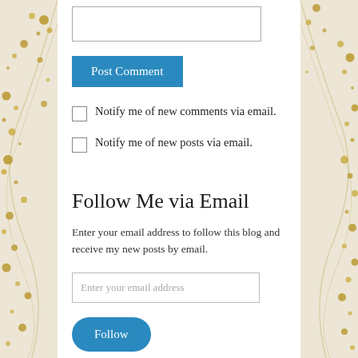[Figure (other): Decorative left border with gold beads/pearls pattern on cream/ivory textured background]
[Figure (other): Decorative right border with gold beads/pearls pattern on cream/ivory textured background]
[Figure (other): Text input box (empty)]
Post Comment
Notify me of new comments via email.
Notify me of new posts via email.
Follow Me via Email
Enter your email address to follow this blog and receive my new posts by email.
Enter your email address
Follow